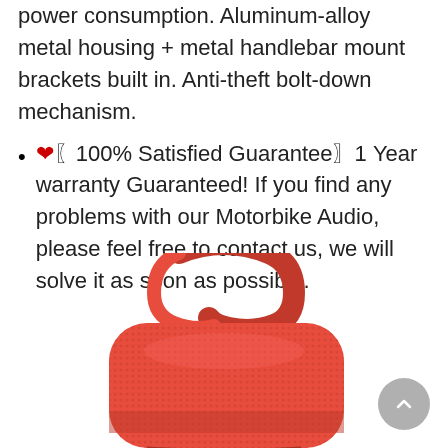power consumption. Aluminum-alloy metal housing + metal handlebar mount brackets built in. Anti-theft bolt-down mechanism.
❤️〖100% Satisfied Guarantee〗1 Year warranty Guaranteed! If you find any problems with our Motorbike Audio, please feel free to contact us, we will solve it as soon as possible.
[Figure (photo): Red portable Bluetooth speaker (JBL Clip style) with a red carabiner clip, seen from a slight angle, partially cropped at the bottom of the page.]